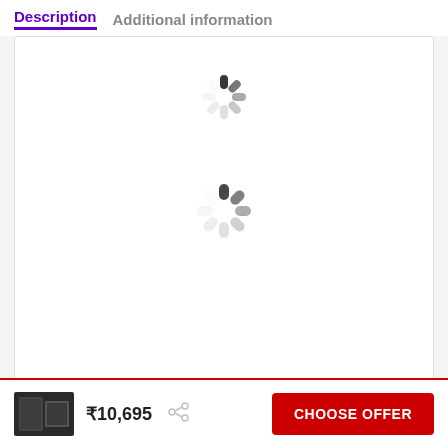Description   Additional information
[Figure (screenshot): Product image loading area with two spinner/loading icons (one near top center, one at center), shown inside a white bordered box]
₹10,695
CHOOSE OFFER